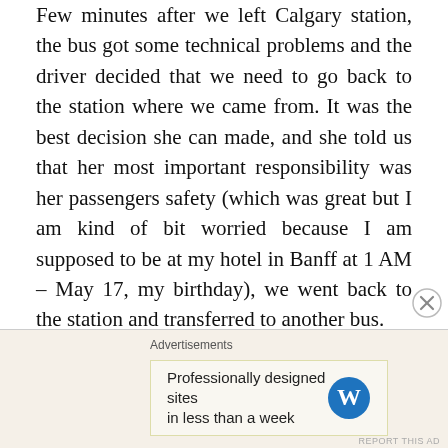Few minutes after we left Calgary station, the bus got some technical problems and the driver decided that we need to go back to the station where we came from. It was the best decision she can made, and she told us that her most important responsibility was her passengers safety (which was great but I am kind of bit worried because I am supposed to be at my hotel in Banff at 1 AM – May 17, my birthday), we went back to the station and transferred to another bus.

I arrived at Banff station at 2:30 AM and no one was around. I am thankful that my boss in Canada gave me a mobile phone temporarily. I able to call a cab in Banff and the cab picked me up in the Banff station. I am at the front of hotel where I made my
Advertisements
Professionally designed sites in less than a week